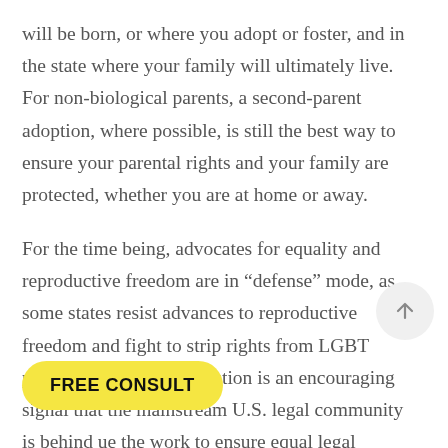will be born, or where you adopt or foster, and in the state where your family will ultimately live. For non-biological parents, a second-parent adoption, where possible, is still the best way to ensure your parental rights and your family are protected, whether you are at home or away.
For the time being, advocates for equality and reproductive freedom are in “defense” mode, as some states resist advances to reproductive freedom and fight to strip rights from LGBT people. The ABA’s resolution is an encouraging signal that the mainstream U.S. legal community is behind [continuing] the work to ensure [families receive] equal legal protection for All famili[es].